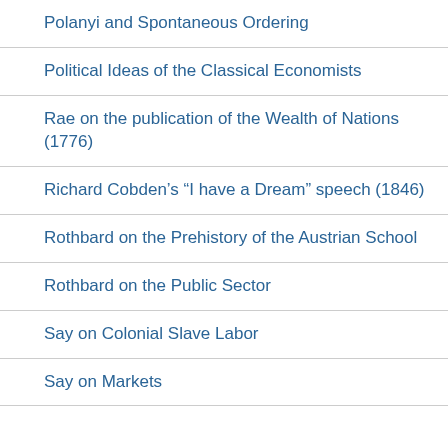Polanyi and Spontaneous Ordering
Political Ideas of the Classical Economists
Rae on the publication of the Wealth of Nations (1776)
Richard Cobden's “I have a Dream” speech (1846)
Rothbard on the Prehistory of the Austrian School
Rothbard on the Public Sector
Say on Colonial Slave Labor
Say on Markets